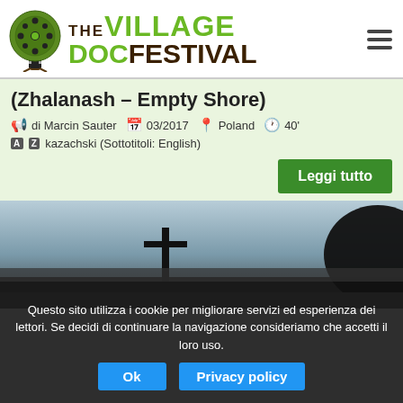[Figure (logo): The Village Doc Festival logo with tree illustration and green/dark brown text]
(Zhalanash – Empty Shore)
di Marcin Sauter   03/2017   Poland   40'
kazachski (Sottotitoli: English)
Leggi tutto
[Figure (photo): Dark silhouette scene with cross-like structure against a grey sky]
Questo sito utilizza i cookie per migliorare servizi ed esperienza dei lettori. Se decidi di continuare la navigazione consideriamo che accetti il loro uso.
Ok   Privacy policy